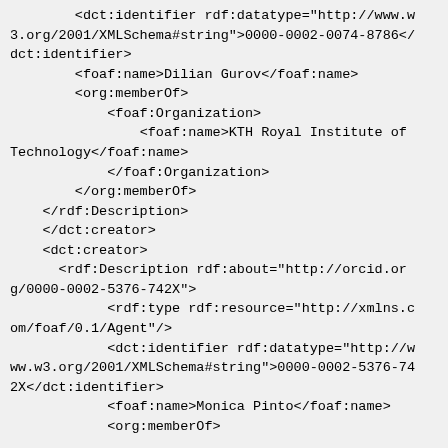<dct:identifier rdf:datatype="http://www.w3.org/2001/XMLSchema#string">0000-0002-0074-8786</dct:identifier>
        <foaf:name>Dilian Gurov</foaf:name>
        <org:memberOf>
            <foaf:Organization>
                <foaf:name>KTH Royal Institute of Technology</foaf:name>
            </foaf:Organization>
        </org:memberOf>
    </rdf:Description>
    </dct:creator>
    <dct:creator>
      <rdf:Description rdf:about="http://orcid.org/0000-0002-5376-742X">
            <rdf:type rdf:resource="http://xmlns.com/foaf/0.1/Agent"/>
            <dct:identifier rdf:datatype="http://www.w3.org/2001/XMLSchema#string">0000-0002-5376-742X</dct:identifier>
            <foaf:name>Monica Pinto</foaf:name>
            <org:memberOf>
                <foaf:Organization>
                    <foaf:name>Universidad de Málaga | ITI